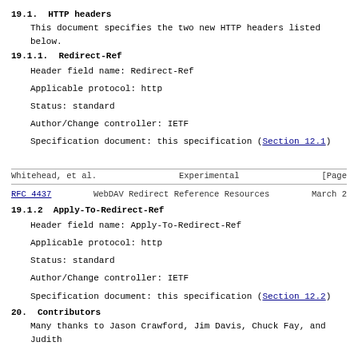19.1.  HTTP headers
This document specifies the two new HTTP headers listed below.
19.1.1.  Redirect-Ref
Header field name: Redirect-Ref
Applicable protocol: http
Status: standard
Author/Change controller: IETF
Specification document: this specification (Section 12.1)
Whitehead, et al.                Experimental                         [Page
RFC 4437          WebDAV Redirect Reference Resources           March 2
19.1.2  Apply-To-Redirect-Ref
Header field name: Apply-To-Redirect-Ref
Applicable protocol: http
Status: standard
Author/Change controller: IETF
Specification document: this specification (Section 12.2)
20.  Contributors
Many thanks to Jason Crawford, Jim Davis, Chuck Fay, and Judith